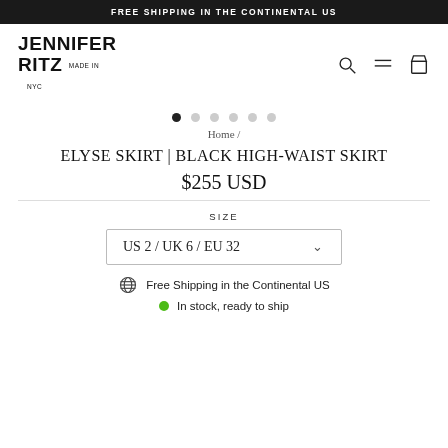FREE SHIPPING IN THE CONTINENTAL US
[Figure (logo): Jennifer Ritz Made in NYC logo with navigation icons (search, menu, cart)]
[Figure (infographic): Carousel pagination dots, first dot filled/active, five dots inactive]
Home /
ELYSE SKIRT | BLACK HIGH-WAIST SKIRT
$255 USD
SIZE
US 2 / UK 6 / EU 32
Free Shipping in the Continental US
In stock, ready to ship